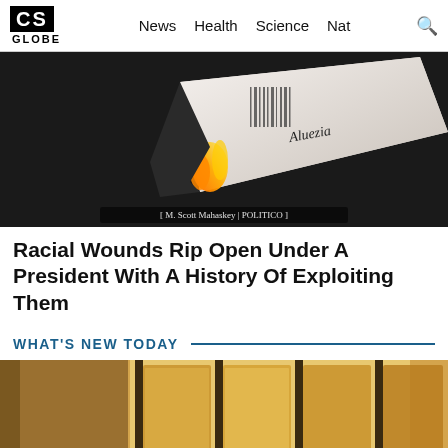CS GLOBE | News | Health | Science | Nat
[Figure (photo): A card or document burning with flames against a dark background, with handwriting visible on the card. Credit: M. Scott Mahaskey | POLITICO]
[ M. Scott Mahaskey | POLITICO ]
Racial Wounds Rip Open Under A President With A History Of Exploiting Them
WHAT'S NEW TODAY
[Figure (photo): Interior photo showing a circular seal/logo on the left and wooden revolving doors or paneled wood architecture on the right, warm amber tones.]